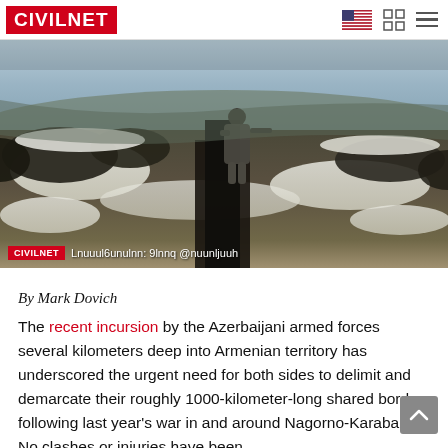CIVILNET
[Figure (photo): A soldier in camouflage uniform standing in a snow-covered trench or fortified position, looking out over a wintry landscape. The photo has a CIVILNET watermark and a caption in Armenian script reading: Lnuuulpununlnn: 9lnnq @nunu|yuuh]
By Mark Dovich
The recent incursion by the Azerbaijani armed forces several kilometers deep into Armenian territory has underscored the urgent need for both sides to delimit and demarcate their roughly 1000-kilometer-long shared border, following last year's war in and around Nagorno-Karabakh. No clashes or injuries have been